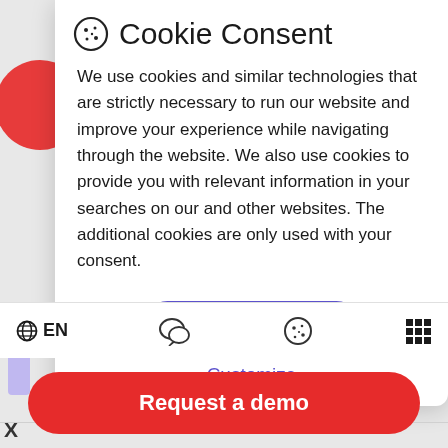Cookie Consent
We use cookies and similar technologies that are strictly necessary to run our website and improve your experience while navigating through the website. We also use cookies to provide you with relevant information in your searches on our and other websites. The additional cookies are only used with your consent.
[Figure (screenshot): Accept all button - purple rounded rectangle button]
Customize
X
[Figure (screenshot): Bottom navigation bar with EN language selector, chat icon, cookie icon, and grid icon]
[Figure (screenshot): Request a demo button - red rounded rectangle button]